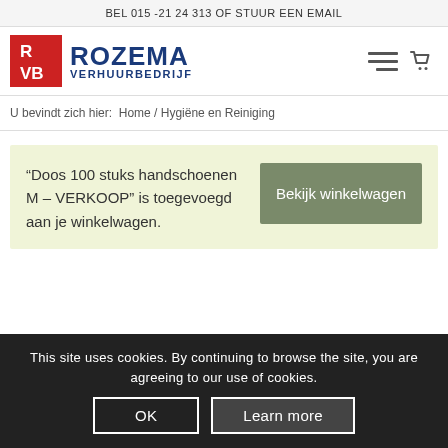BEL 015 -21 24 313 OF STUUR EEN EMAIL
[Figure (logo): Rozema Verhuurbedrijf logo with red RVB icon and blue text]
U bevindt zich hier: Home / Hygiëne en Reiniging
“Doos 100 stuks handschoenen M – VERKOOP” is toegevoegd aan je winkelwagen.
Bekijk winkelwagen
This site uses cookies. By continuing to browse the site, you are agreeing to our use of cookies.